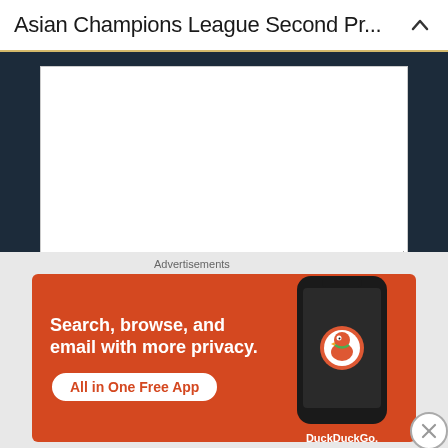Asian Champions League Second Pr...
Name
Email
Advertisements
[Figure (screenshot): DuckDuckGo advertisement banner with orange background. Text reads: Search, browse, and email with more privacy. All in One Free App. Shows DuckDuckGo logo and a phone mockup on the right side.]